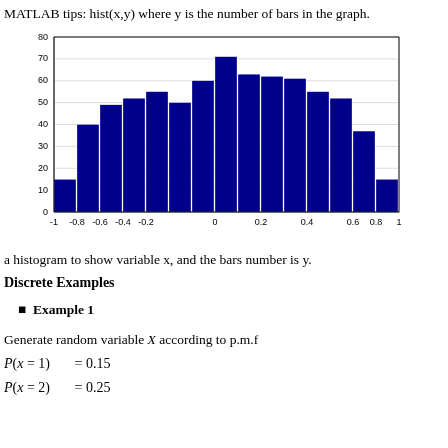MATLAB tips: hist(x,y) where y is the number of bars in the graph.
[Figure (histogram): ]
a histogram to show variable x, and the bars number is y.
Discrete Examples
Example 1
Generate random variable X according to p.m.f